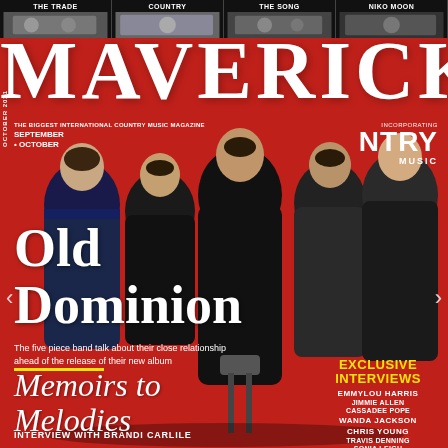THE TRADE | COUNTRY | THE SONG | NIKO MOON
MAVERICK
THE BIGGEST INTERNATIONAL COUNTRY MUSIC MAGAZINE
SEPTEMBER – OCTOBER
INCORPORATING COUNTRY MUSIC
[Figure (photo): Five members of Old Dominion band posing together against a red background]
Old Dominion
The five piece band talk about their close relationship ahead of the release of their new album
Memoirs to Melodies
EXCLUSIVE INTERVIEWS
EMMYLOU HARRIS
JIMMIE ALLEN
CASSADEE POPE
WANDA JACKSON
CHRIS YOUNG
TRAVIS DENNING
SONIA LEIGH
INTERVIEW WITH BRANDI CARLILE